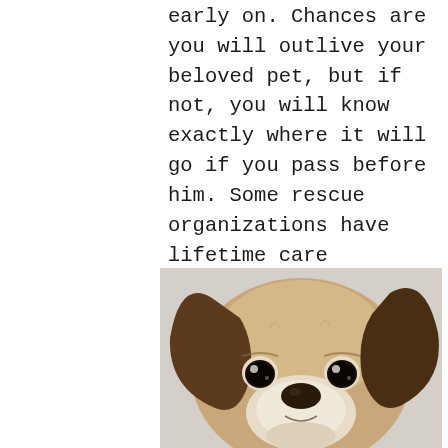early on. Chances are you will outlive your beloved pet, but if not, you will know exactly where it will go if you pass before him. Some rescue organizations have lifetime care programs that allow you to gift them a donation and they will care for your pet for the duration of its life. You can also put your pets into your will, and have a friend or relative care for him after you're gone.
[Figure (photo): Close-up photo of a beagle or small hound dog face, looking directly at the camera with large dark eyes and floppy brown ears, against a light gray/white wall background.]